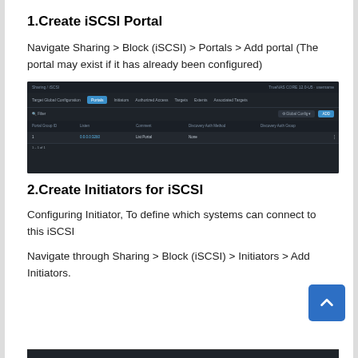1.Create iSCSI Portal
Navigate Sharing > Block (iSCSI) > Portals > Add portal (The portal may exist if it has already been configured)
[Figure (screenshot): Dark-themed TrueNAS web UI showing the Sharing > Block (iSCSI) > Portals page with a table listing portal entries and Add/Global Configuration buttons.]
2.Create Initiators for iSCSI
Configuring Initiator, To define which systems can connect to this iSCSI
Navigate through Sharing > Block (iSCSI) > Initiators > Add Initiators.
[Figure (screenshot): Dark-themed TrueNAS web UI showing the Sharing > Block (iSCSI) > Initiators page, partially visible at bottom of page.]